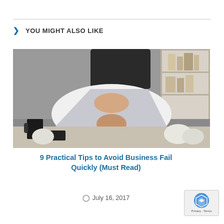> YOU MIGHT ALSO LIKE
[Figure (photo): Person in white shirt hiding their face under a laptop on a desk, with crumpled paper, glasses, and a coffee mug visible. Office environment background.]
9 Practical Tips to Avoid Business Fail Quickly (Must Read)
July 16, 2017